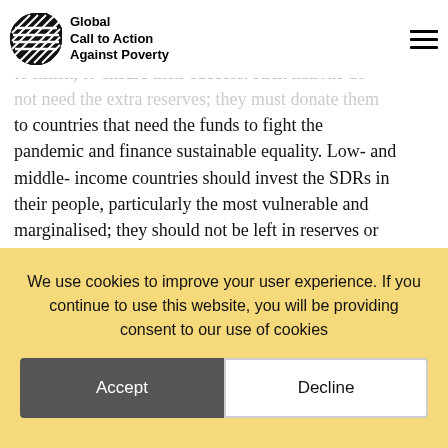Global Call to Action Against Poverty
individuals from excluded communities must be involved in the programmes and processes, from start to finish, to ensure their success. Rich nations do not need the extra reserves; they must donate them to countries that need the funds to fight the pandemic and finance sustainable equality. Low- and middle- income countries should invest the SDRs in their people, particularly the most vulnerable and marginalised; they should not be left in reserves or used as collateral to finance more debt. More SDRs are needed to fight the pandemic the IMF should issue 3 tril...
Tax Justice
We use cookies! By using this website without changing your settings, you consent to our use of
We use cookies to improve your user experience. If you continue to use this website, you will be providing consent to our use of cookies